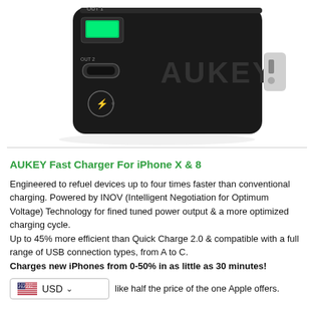[Figure (photo): AUKEY Fast Charger product photo — black USB wall charger with green USB-A port labeled OUT 1, USB-C port labeled OUT 2, and Quick Charge logo on front. AUKEY branding on side. US plug prongs visible on right side.]
AUKEY Fast Charger For iPhone X & 8
Engineered to refuel devices up to four times faster than conventional charging. Powered by INOV (Intelligent Negotiation for Optimum Voltage) Technology for fined tuned power output & a more optimized charging cycle.
Up to 45% more efficient than Quick Charge 2.0 & compatible with a full range of USB connection types, from A to C.
Charges new iPhones from 0-50% in as little as 30 minutes!
USD ▾  ...like half the price of the one Apple offers.